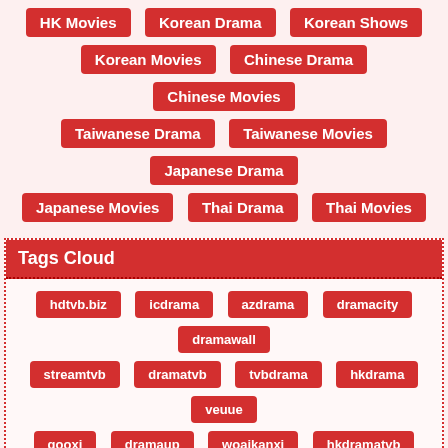HK Movies
Korean Drama
Korean Shows
Korean Movies
Chinese Drama
Chinese Movies
Taiwanese Drama
Taiwanese Movies
Japanese Drama
Japanese Movies
Thai Drama
Thai Movies
Tags Cloud
hdtvb.biz
icdrama
azdrama
dramacity
dramawall
streamtvb
dramatvb
tvbdrama
hkdrama
veuue
qooxi
dramaup
woaikanxi
hkdramatvb
on9drama
viewasian
hdfree